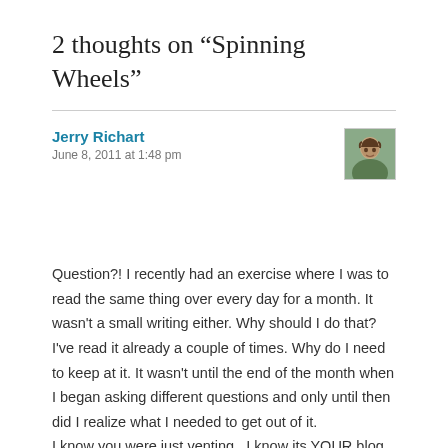2 thoughts on “Spinning Wheels”
Jerry Richart
June 8, 2011 at 1:48 pm
Question?! I recently had an exercise where I was to read the same thing over every day for a month. It wasn't a small writing either. Why should I do that? I've read it already a couple of times. Why do I need to keep at it. It wasn't until the end of the month when I began asking different questions and only until then did I realize what I needed to get out of it.
I know you were just venting...I know its YOUR blog...
You do say we can do with it what we want. so...